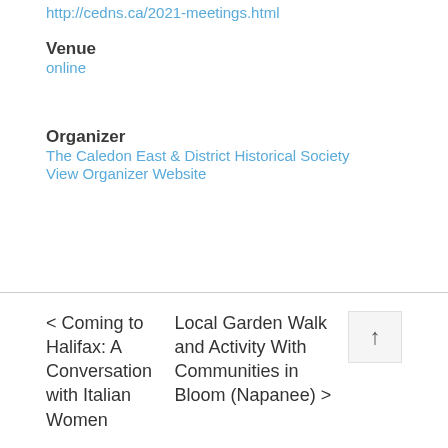http://cedns.ca/2021-meetings.html
Venue
online
Organizer
The Caledon East & District Historical Society
View Organizer Website
< Coming to Halifax: A Conversation with Italian Women
Local Garden Walk and Activity With Communities in Bloom (Napanee) >